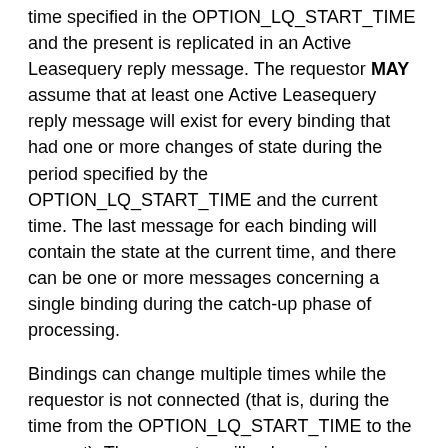time specified in the OPTION_LQ_START_TIME and the present is replicated in an Active Leasequery reply message. The requestor MAY assume that at least one Active Leasequery reply message will exist for every binding that had one or more changes of state during the period specified by the OPTION_LQ_START_TIME and the current time. The last message for each binding will contain the state at the current time, and there can be one or more messages concerning a single binding during the catch-up phase of processing.
Bindings can change multiple times while the requestor is not connected (that is, during the time from the OPTION_LQ_START_TIME to the present). The requestor will only receive information about the current state of the binding, not information about each state change that occurred during the period from the OPTION_LQ_START_TIME to the present.
If the LEASEQUERY-REPLY or LEASEQUERY-DATA message containing a DHCPv6 status code of DataMissing is